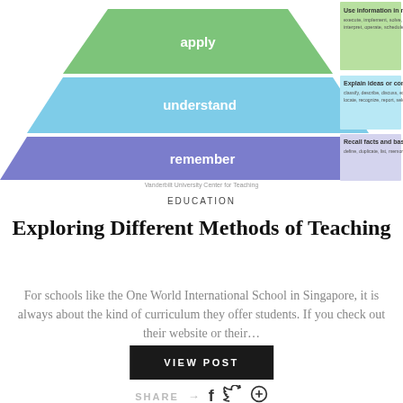[Figure (infographic): Bloom's Taxonomy pyramid diagram showing levels: apply (green, top), understand (light blue, middle), remember (purple/blue, bottom). Right side has text boxes: 'Use information in new situations - execute, implement, solve, use, demonstrate, interpret, operate, schedule, sketch'; 'Explain ideas or concepts - classify, describe, discuss, explain, identify, locate, recognize, report, select, translate'; 'Recall facts and basic concepts - define, duplicate, list, memorize, repeat, state'. Attribution: Vanderbilt University Center for Teaching.]
EDUCATION
Exploring Different Methods of Teaching
For schools like the One World International School in Singapore, it is always about the kind of curriculum they offer students. If you check out their website or their…
VIEW POST
SHARE → f 🐦 ⊕